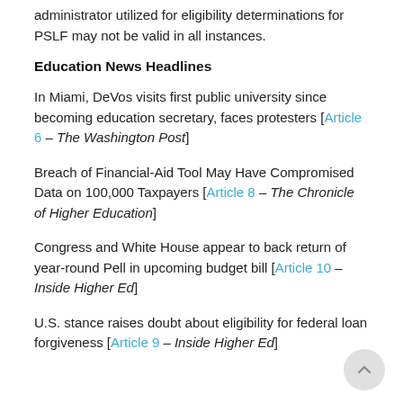administrator utilized for eligibility determinations for PSLF may not be valid in all instances.
Education News Headlines
In Miami, DeVos visits first public university since becoming education secretary, faces protesters [Article 6 – The Washington Post]
Breach of Financial-Aid Tool May Have Compromised Data on 100,000 Taxpayers [Article 8 – The Chronicle of Higher Education]
Congress and White House appear to back return of year-round Pell in upcoming budget bill [Article 10 – Inside Higher Ed]
U.S. stance raises doubt about eligibility for federal loan forgiveness [Article 9 – Inside Higher Ed]